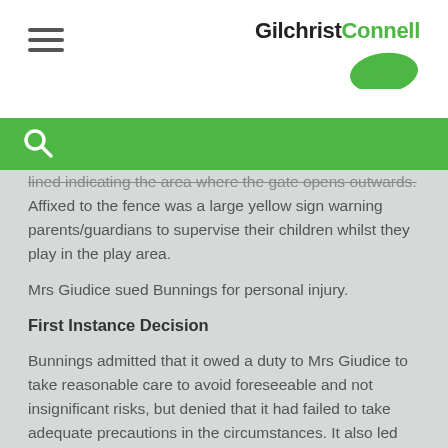Gilchrist Connell
lined indicating the area where the gate opens outwards. Affixed to the fence was a large yellow sign warning parents/guardians to supervise their children whilst they play in the play area.
Mrs Giudice sued Bunnings for personal injury.
First Instance Decision
Bunnings admitted that it owed a duty to Mrs Giudice to take reasonable care to avoid foreseeable and not insignificant risks, but denied that it had failed to take adequate precautions in the circumstances. It also led evidence that there had been no previous incidents of any trips or falls on the raised surface.